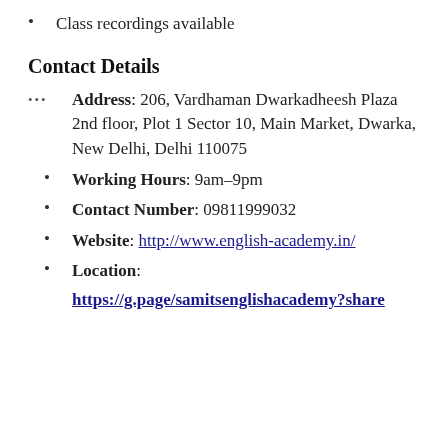Class recordings available
Contact Details
Address: 206, Vardhaman Dwarkadheesh Plaza 2nd floor, Plot 1 Sector 10, Main Market, Dwarka, New Delhi, Delhi 110075
Working Hours: 9am–9pm
Contact Number: 09811999032
Website: http://www.english-academy.in/
Location: https://g.page/samitsenglishacademy?share